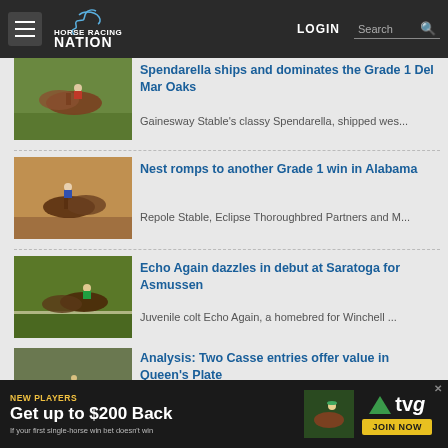Horse Racing Nation — LOGIN | Search
[Figure (screenshot): Horse race photo 1 — Spendarella at Del Mar Oaks]
Spendarella ships and dominates the Grade 1 Del Mar Oaks
Gainesway Stable's classy Spendarella, shipped wes...
[Figure (screenshot): Horse race photo 2 — Nest at Alabama Stakes]
Nest romps to another Grade 1 win in Alabama
Repole Stable, Eclipse Thoroughbred Partners and M...
[Figure (screenshot): Horse race photo 3 — Echo Again at Saratoga]
Echo Again dazzles in debut at Saratoga for Asmussen
Juvenile colt Echo Again, a homebred for Winchell ...
[Figure (screenshot): Horse race photo 4 — Queen's Plate]
Analysis: Two Casse entries offer value in Queen's Plate
Eleven Canadian-bred 3-year-olds are lined up for...
NEW PLAYERS — Get up to $200 Back — If your first single-horse win bet doesn't win — TVG JOIN NOW